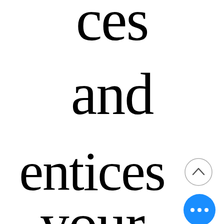ces
and
entices
your
[Figure (illustration): UI navigation button: circle with up chevron (scroll up) and blue circle with three dots (more options menu)]